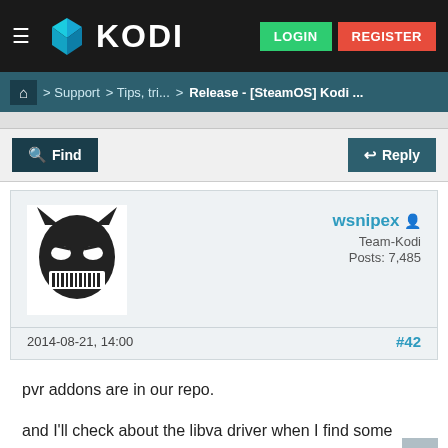KODI — LOGIN | REGISTER
Home > Support > Tips, tri... > Release - [SteamOS] Kodi ...
Find | Reply
[Figure (illustration): Batman-style dark avatar icon]
wsnipex
Team-Kodi
Posts: 7,485
2014-08-21, 14:00   #42
pvr addons are in our repo.

and I'll check about the libva driver when I find some time. But it should be available in steam OS itself.